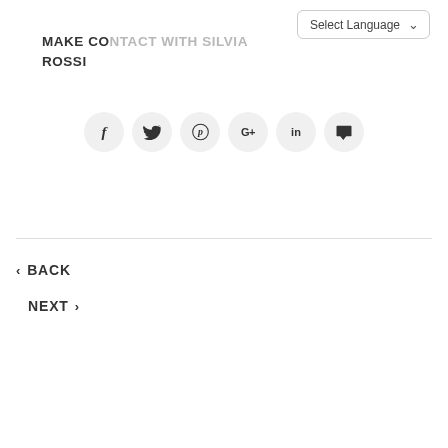[Figure (screenshot): Select Language dropdown UI element with chevron arrow]
MAKE CONTACT WITH SILVIA ROSSI
[Figure (infographic): Row of social media share icons: Facebook (f), Twitter (bird), Pinterest (p), Google+ (G+), LinkedIn (in), Comment bubble]
‹ BACK
NEXT ›